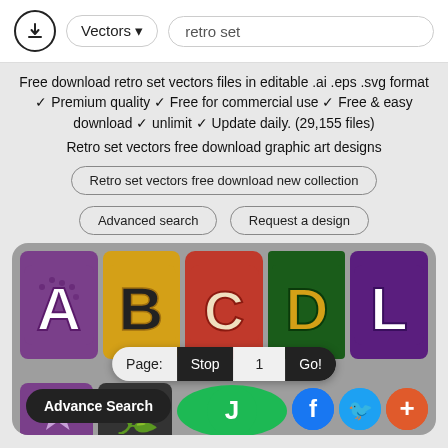Vectors ▾  retro set
Free download retro set vectors files in editable .ai .eps .svg format ✓ Premium quality ✓ Free for commercial use ✓ Free & easy download ✓ unlimit ✓ Update daily. (29,155 files)
Retro set vectors free download graphic art designs
Retro set vectors free download new collection
Advanced search    Request a design
[Figure (screenshot): Retro alphabet vector art grid showing colorful letters A, B, C, D, L on colored backgrounds with page navigation bar (Page: Stop 1 Go!) and social icons (Advance Search, music, facebook, twitter, plus)]